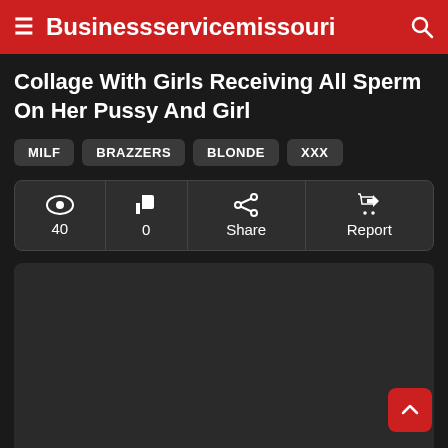Businessservicemissouri
Collage With Girls Receiving All Sperm On Her Pussy And Girl
MILF
BRAZZERS
BLONDE
XXX
| Views | Likes | Share | Report |
| --- | --- | --- | --- |
| 40 | 0 | Share | Report |
[Figure (other): Dark media placeholder area]